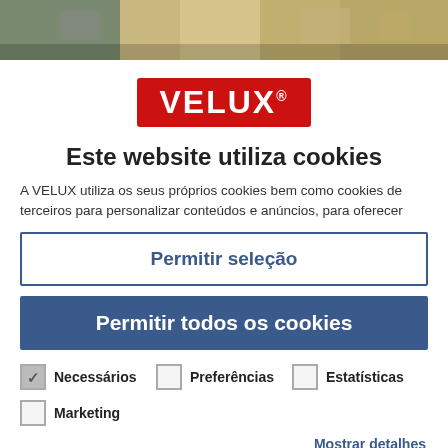[Figure (photo): Background photo showing rooftop windows/buildings, partially visible at top of page]
[Figure (logo): VELUX logo — white bold text on red background with registered trademark symbol]
Este website utiliza cookies
A VELUX utiliza os seus próprios cookies bem como cookies de terceiros para personalizar conteúdos e anúncios, para oferecer
Permitir seleção
Permitir todos os cookies
Necessários
Preferências
Estatísticas
Marketing
Mostrar detalhes